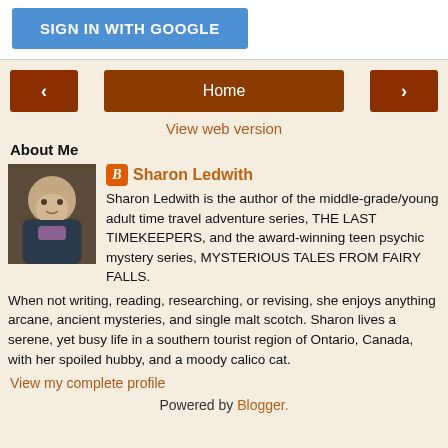[Figure (screenshot): Sign in with Google button (blue)]
[Figure (screenshot): Navigation row with left arrow, Home button, right arrow]
View web version
About Me
[Figure (photo): Photo of Sharon Ledwith]
Sharon Ledwith
Sharon Ledwith is the author of the middle-grade/young adult time travel adventure series, THE LAST TIMEKEEPERS, and the award-winning teen psychic mystery series, MYSTERIOUS TALES FROM FAIRY FALLS. When not writing, reading, researching, or revising, she enjoys anything arcane, ancient mysteries, and single malt scotch. Sharon lives a serene, yet busy life in a southern tourist region of Ontario, Canada, with her spoiled hubby, and a moody calico cat.
View my complete profile
Powered by Blogger.